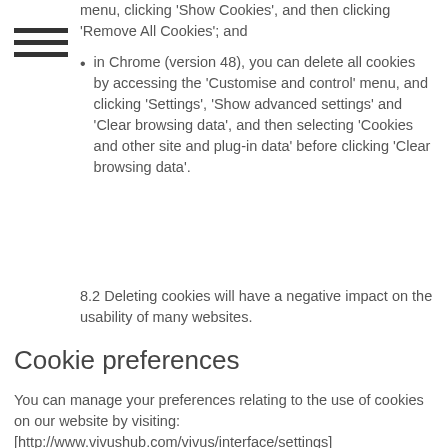menu, clicking 'Show Cookies', and then clicking 'Remove All Cookies'; and
in Chrome (version 48), you can delete all cookies by accessing the 'Customise and control' menu, and clicking 'Settings', 'Show advanced settings' and 'Clear browsing data', and then selecting 'Cookies and other site and plug-in data' before clicking 'Clear browsing data'.
8.2 Deleting cookies will have a negative impact on the usability of many websites.
Cookie preferences
You can manage your preferences relating to the use of cookies on our website by visiting: [http://www.vivushub.com/vivus/interface/settings]
Our details
This website is owned and operated by [Vivus Hub ltd]. Registered in [England and Wales] under registration number 10956726, and our registered office is at Manchester United Kingdom. Our principal place of business is at [Manchester United Kingdom]. You can contact us: